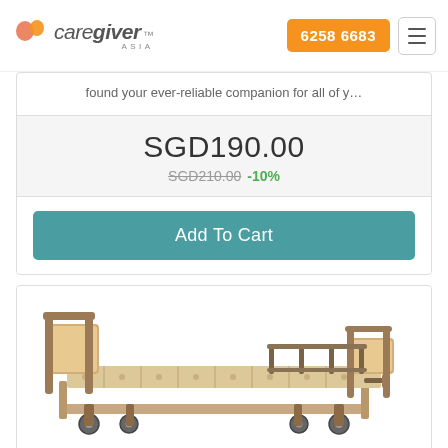[Figure (logo): Caregiver Asia logo with orange heart icon and stylized italic text]
6258 6683
found your ever-reliable companion for all of y...
SGD190.00
SGD210.00 -10%
Add To Cart
[Figure (photo): Hospital/medical adjustable bed with beige frame, side rails, and wheels]